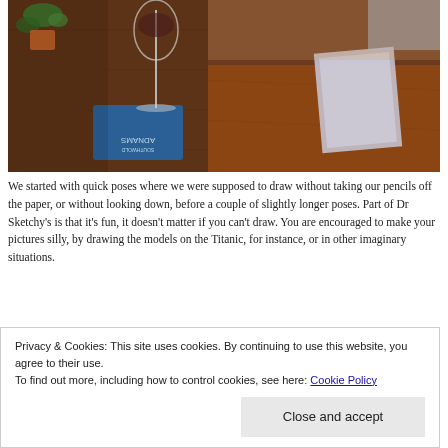[Figure (photo): A restaurant or cafe table scene showing a wine glass on a blue Adnams branded coaster/mat on a dark wooden table. A menu or paper document is visible to the right. A green plant is visible in the background.]
We started with quick poses where we were supposed to draw without taking our pencils off the paper, or without looking down, before a couple of slightly longer poses. Part of Dr Sketchy's is that it's fun, it doesn't matter if you can't draw. You are encouraged to make your pictures silly, by drawing the models on the Titanic, for instance, or in other imaginary situations.
There are no photos of the poses as, like I said, you're not *really*
Privacy & Cookies: This site uses cookies. By continuing to use this website, you agree to their use.
To find out more, including how to control cookies, see here: Cookie Policy
Close and accept